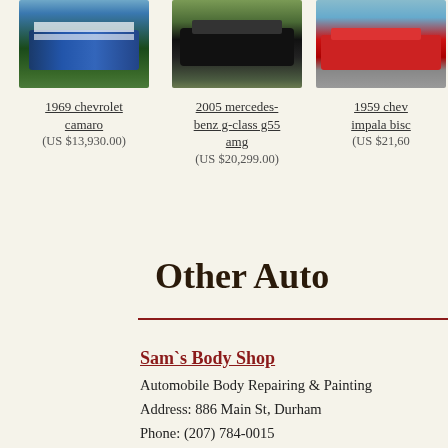[Figure (photo): Blue 1969 Chevrolet Camaro with white racing stripes parked on grass]
1969 chevrolet camaro
(US $13,930.00)
[Figure (photo): Black 2005 Mercedes-Benz G-Class G55 AMG parked on driveway]
2005 mercedes-benz g-class g55 amg
(US $20,299.00)
[Figure (photo): Red 1959 Chevrolet Impala Biscayne (partially visible)]
1959 chev impala bisc
(US $21,60
Other Auto
Sam`s Body Shop
Automobile Body Repairing & Painting
Address: 886 Main St, Durham
Phone: (207) 784-0015